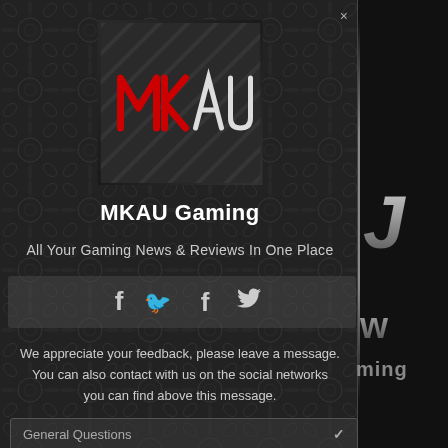[Figure (logo): MKAU Gaming logo — stylized red and white MK letters over dark geometric hatched background]
MKAU Gaming
All Your Gaming News & Reviews In One Place
[Figure (infographic): Social media bar with Facebook (f) and Twitter (bird) icons on dark background]
We appreciate your feedback, please leave a message. You can also contact with us on the social networks you can find above this message.
General Questions